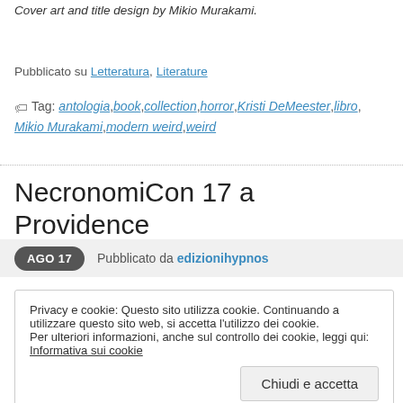Cover art and title design by Mikio Murakami.
Pubblicato su Letteratura, Literature
Tag: antologia, book, collection, horror, Kristi DeMeester, libro, Mikio Murakami, modern weird, weird
NecronomiCon 17 a Providence
AGO 17  Pubblicato da edizionihypnos
Privacy e cookie: Questo sito utilizza cookie. Continuando a utilizzare questo sito web, si accetta l'utilizzo dei cookie.
Per ulteriori informazioni, anche sul controllo dei cookie, leggi qui:
Informativa sui cookie
Chiudi e accetta